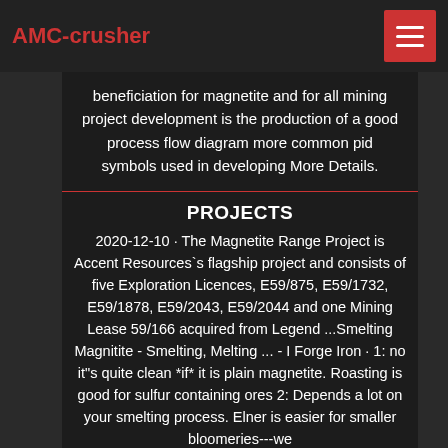AMC-crusher
beneficiation for magnetite and for all mining project development is the production of a good process flow diagram more common pid symbols used in developing More Details.
PROJECTS
2020-12-10 · The Magnetite Range Project is Accent Resources`s flagship project and consists of five Exploration Licences, E59/875, E59/1732, E59/1878, E59/2043, E59/2044 and one Mining Lease 59/166 acquired from Legend ...Smelting Magnitite - Smelting, Melting ... - I Forge Iron · 1: no it"s quite clean *if* it is plain magnetite. Roasting is good for sulfur containing ores 2: Depends a lot on your smelting process. Elner is easier for smaller bloomeries---we